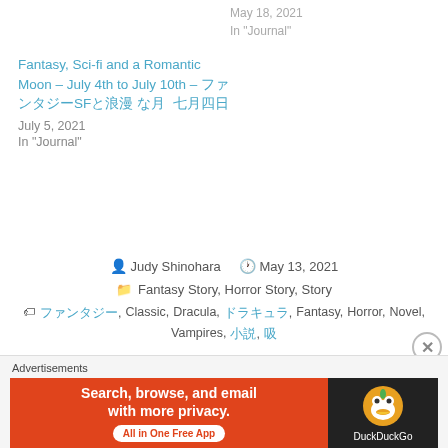May 18, 2021
In "Journal"
Fantasy, Sci-fi and a Romantic Moon – July 4th to July 10th – ファンタジーSFと浪漫 な月　七月四日
July 5, 2021
In "Journal"
Judy Shinohara   May 13, 2021
Fantasy Story, Horror Story, Story
ファンタジー, Classic, Dracula, ドラキュラ, Fantasy, Horror, Novel, Vampires, 小説, 吸
Published by Judy Shinohara
Advertisements
[Figure (screenshot): DuckDuckGo advertisement banner: 'Search, browse, and email with more privacy. All in One Free App' with DuckDuckGo logo on dark right panel]